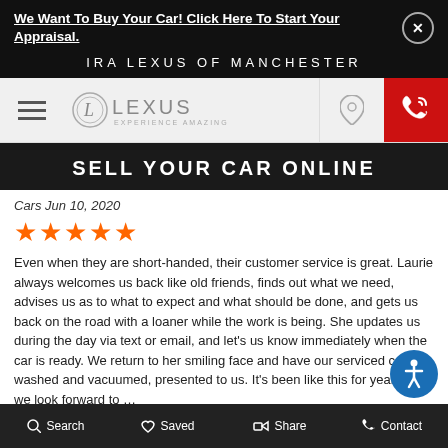We Want To Buy Your Car! Click Here To Start Your Appraisal.
IRA LEXUS OF MANCHESTER
[Figure (logo): Lexus logo with 'EXPERIENCE AMAZING' tagline and navigation bar with hamburger menu, location pin, and call button]
SELL YOUR CAR ONLINE
Cars Jun 10, 2020
[Figure (infographic): 5 orange stars rating]
Even when they are short-handed, their customer service is great. Laurie always welcomes us back like old friends, finds out what we need, advises us as to what to expect and what should be done, and gets us back on the road with a loaner while the work is being. She updates us during the day via text or email, and let’s us know immediately when the car is ready. We return to her smiling face and have our serviced car, washed and vacuumed, presented to us. It’s been like this for years, and we look forward to …
[Figure (logo): Cars logo #71 broken image icon]
Cars Jun 6, 2020
[Figure (infographic): 5 orange stars rating]
Search   Saved   Share   Contact